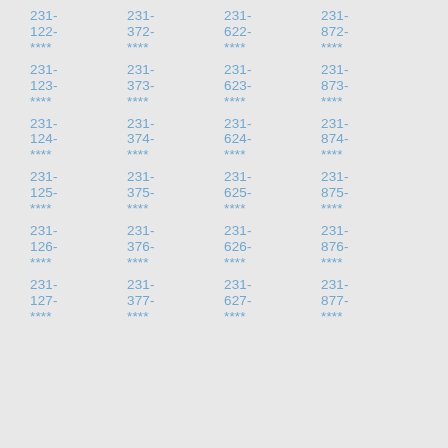231- 122- **** | 231- 372- **** | 231- 622- **** | 231- 872- **** | 231- 123- **** | 231- 373- **** | 231- 623- **** | 231- 873- **** | 231- 124- **** | 231- 374- **** | 231- 624- **** | 231- 874- **** | 231- 125- **** | 231- 375- **** | 231- 625- **** | 231- 875- **** | 231- 126- **** | 231- 376- **** | 231- 626- **** | 231- 876- **** | 231- 127- **** | 231- 377- **** | 231- 627- **** | 231- 877- ****